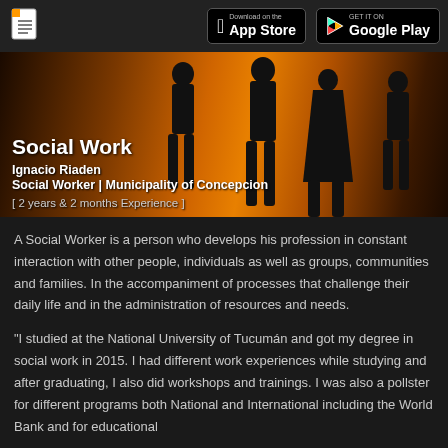[Figure (screenshot): App Store and Google Play download badges in top navigation bar]
[Figure (photo): Hero banner with orange silhouettes background for Social Work profile]
Social Work
Ignacio Riaden
Social Worker | Municipality of Concepcion
[ 2 years & 2 months Experience ]
A Social Worker is a person who develops his profession in constant interaction with other people, individuals as well as groups, communities and families. In the accompaniment of processes that challenge their daily life and in the administration of resources and needs.
"I studied at the National University of Tucumán and got my degree in social work in 2015. I had different work experiences while studying and after graduating, I also did workshops and trainings. I was also a pollster for different programs both National and International including the World Bank and for educational